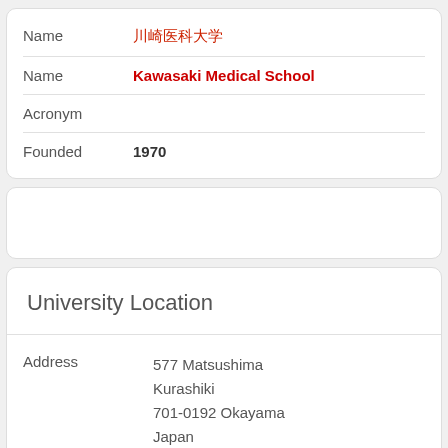| Name | 川崎医科大学 |
| Name | Kawasaki Medical School |
| Acronym |  |
| Founded | 1970 |
University Location
| Address | 577 Matsushima
Kurashiki
701-0192 Okayama
Japan |